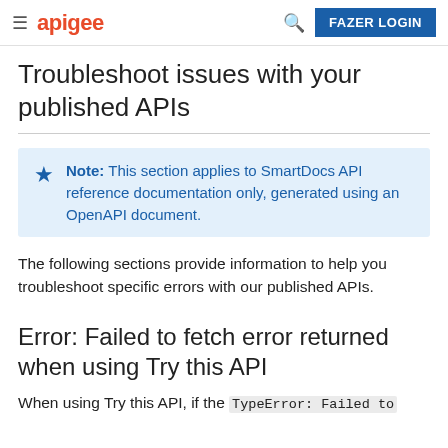apigee | FAZER LOGIN
Troubleshoot issues with your published APIs
Note: This section applies to SmartDocs API reference documentation only, generated using an OpenAPI document.
The following sections provide information to help you troubleshoot specific errors with our published APIs.
Error: Failed to fetch error returned when using Try this API
When using Try this API, if the TypeError: Failed to